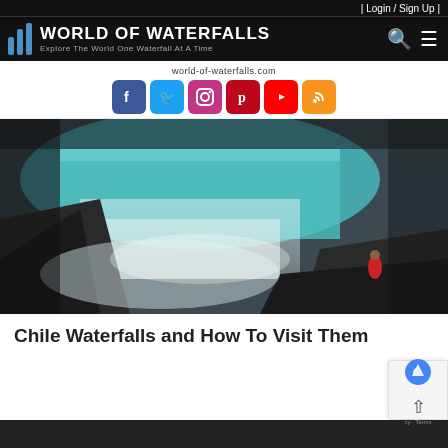| Login / Sign Up |
WORLD OF WATERFALLS — Explore The World One Waterfall At A Time
world-of-waterfalls.com
[Figure (screenshot): Social media icons: Facebook, Twitter, Instagram, Pinterest, YouTube, RSS feed]
[Figure (photo): A dramatic waterfall scene in Chile with turquoise water cascading over dark rocks, with a person in a red jacket visible on the right side]
Chile Waterfalls and How To Visit Them